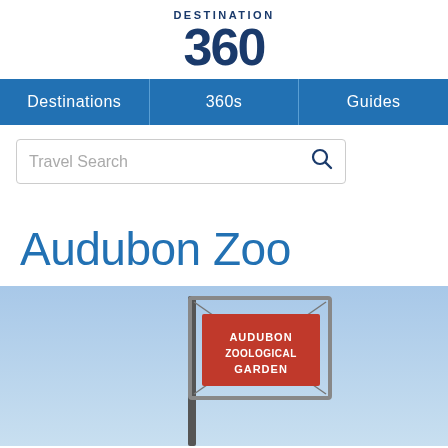DESTINATION 360
[Figure (screenshot): Navigation bar with three items: Destinations, 360s, Guides on a blue background]
[Figure (other): Search bar with placeholder text 'Travel Search' and a search icon]
Audubon Zoo
[Figure (photo): Photo of the Audubon Zoological Garden sign against a blue sky]